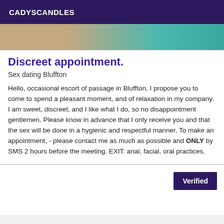CADYSCANDLES
[Figure (photo): Partial image strip showing skin tones and teal/turquoise colors]
Discreet appointment.
Sex dating Bluffton
Hello, occasional escort of passage in Bluffton, I propose you to come to spend a pleasant moment, and of relaxation in my company. I am sweet, discreet, and I like what I do, so no disappointment gentlemen. Please know in advance that I only receive you and that the sex will be done in a hygienic and respectful manner. To make an appointment, - please contact me as much as possible and ONLY by SMS 2 hours before the meeting. EXIT: anal, facial, oral practices.
Verified